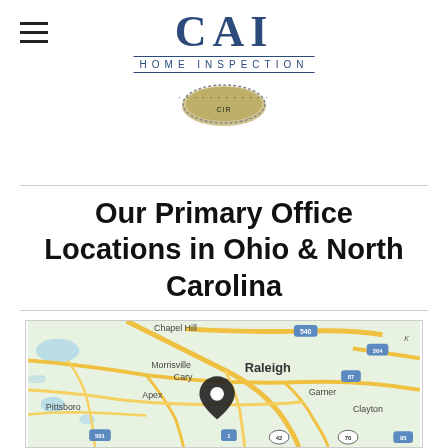CAI HOME INSPECTION
[Figure (logo): CAI Home Inspection logo with certification seal]
Our Primary Office Locations in Ohio & North Carolina
[Figure (map): Google Maps view showing Raleigh NC area with a location pin near Garner/Apex area, showing Chapel Hill, Morrisville, Cary, Apex, Pittsboro, Raleigh, Garner, Clayton and surrounding roads including routes 540, 264, 87, 501, 1, 42, 70, 95]